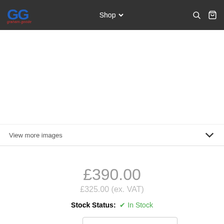GG graham-goode | Shop | search | cart
View more images
£390.00
£325.00 (ex. VAT)
Stock Status: In Stock
Position: PR - Pair Both Sides